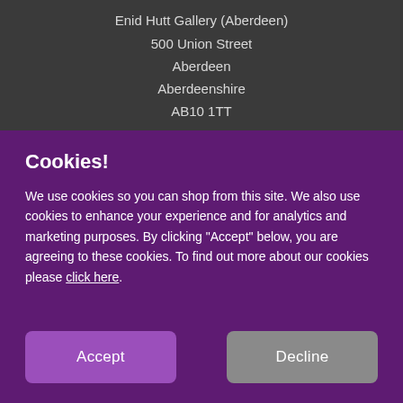Enid Hutt Gallery (Aberdeen)
500 Union Street
Aberdeen
Aberdeenshire
AB10 1TT
Cookies!
We use cookies so you can shop from this site. We also use cookies to enhance your experience and for analytics and marketing purposes. By clicking "Accept" below, you are agreeing to these cookies. To find out more about our cookies please click here.